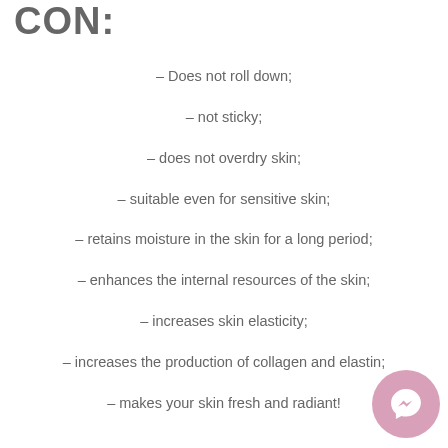CON:
– Does not roll down;
– not sticky;
– does not overdry skin;
– suitable even for sensitive skin;
– retains moisture in the skin for a long period;
– enhances the internal resources of the skin;
– increases skin elasticity;
– increases the production of collagen and elastin;
– makes your skin fresh and radiant!